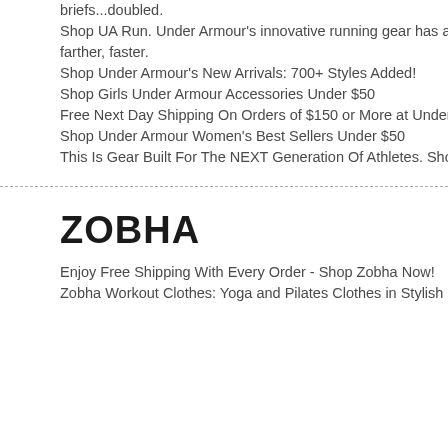briefs...doubled.
Shop UA Run. Under Armour's innovative running gear has a farther, faster.
Shop Under Armour's New Arrivals: 700+ Styles Added!
Shop Girls Under Armour Accessories Under $50
Free Next Day Shipping On Orders of $150 or More at Under
Shop Under Armour Women's Best Sellers Under $50
This Is Gear Built For The NEXT Generation Of Athletes. Sho
ZOBHA
Enjoy Free Shipping With Every Order - Shop Zobha Now!
Zobha Workout Clothes: Yoga and Pilates Clothes in Stylish D